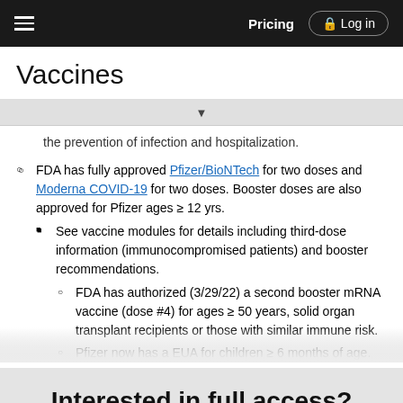Pricing  Log in
Vaccines
the prevention of infection and hospitalization.
FDA has fully approved Pfizer/BioNTech for two doses and Moderna COVID-19 for two doses. Booster doses are also approved for Pfizer ages ≥ 12 yrs.
See vaccine modules for details including third-dose information (immunocompromised patients) and booster recommendations.
FDA has authorized (3/29/22) a second booster mRNA vaccine (dose #4) for ages ≥ 50 years, solid organ transplant recipients or those with similar immune risk.
Pfizer now has a EUA for children ≥ 6 months of age.
Interested in full access?
Subscribe to the Johns Hopkins Guides for less than $1 a week
Purchase a subscription
I'm already a subscriber